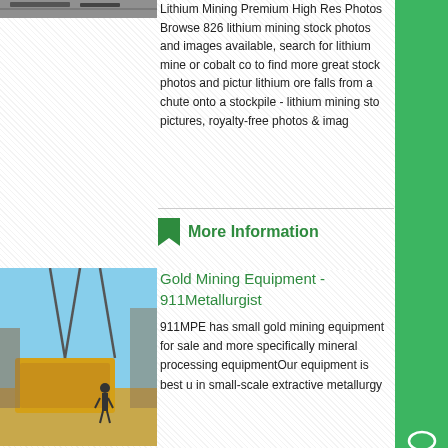[Figure (photo): Top partial image of lithium mining equipment/conveyor, cropped at top]
Lithium Mining Premium High Res Photos Browse 826 lithium mining stock photos and images available, search for lithium mine or cobalt co to find more great stock photos and pictur lithium ore falls from a chute onto a stockpile - lithium mining sto pictures, royalty-free photos & imag
More Information
[Figure (photo): Gold mining equipment being lifted by crane, yellow metal container/box]
Gold Mining Equipment - 911Metallurgist
911MPE has small gold mining equipment for sale and more specifically mineral processing equipmentOur equipment is best u in small-scale extractive metallurg